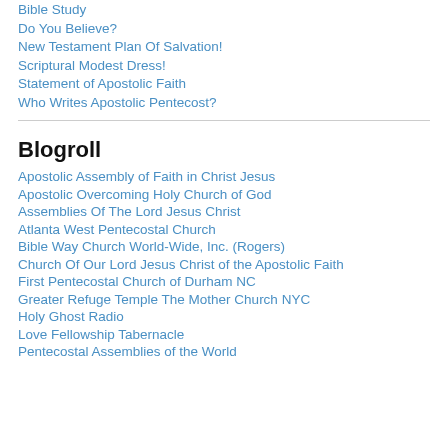Bible Study
Do You Believe?
New Testament Plan Of Salvation!
Scriptural Modest Dress!
Statement of Apostolic Faith
Who Writes Apostolic Pentecost?
Blogroll
Apostolic Assembly of Faith in Christ Jesus
Apostolic Overcoming Holy Church of God
Assemblies Of The Lord Jesus Christ
Atlanta West Pentecostal Church
Bible Way Church World-Wide, Inc. (Rogers)
Church Of Our Lord Jesus Christ of the Apostolic Faith
First Pentecostal Church of Durham NC
Greater Refuge Temple The Mother Church NYC
Holy Ghost Radio
Love Fellowship Tabernacle
Pentecostal Assemblies of the World